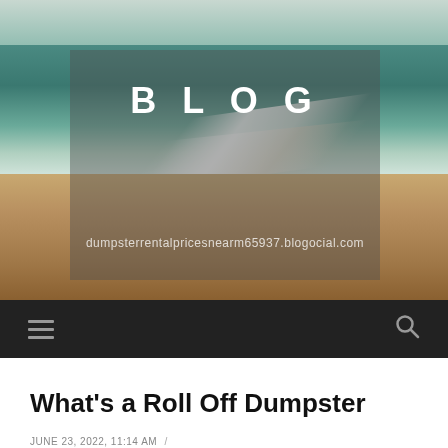[Figure (photo): Beach and ocean scene with waves washing onto sandy shore, used as hero background image for a blog website]
BLOG
dumpsterrentalpricesnearm65937.blogocial.com
Navigation bar with hamburger menu and search icon
What's a Roll Off Dumpster
JUNE 23, 2022, 11:14 AM / DUMPSTERRENTALPRICESNEARM65937.BLOGOCIAL.COM